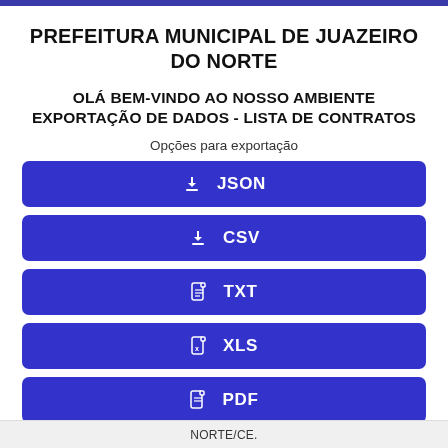PREFEITURA MUNICIPAL DE JUAZEIRO DO NORTE
OLÁ BEM-VINDO AO NOSSO AMBIENTE EXPORTAÇÃO DE DADOS - LISTA DE CONTRATOS
Opções para exportação
JSON
CSV
TXT
XLS
PDF
NORTE/CE.